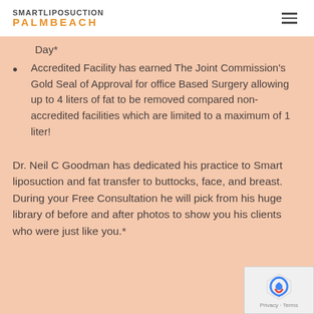SMARTLIPOSUCTION PALMBEACH
Day*
Accredited Facility has earned The Joint Commission's Gold Seal of Approval for office Based Surgery allowing up to 4 liters of fat to be removed compared non-accredited facilities which are limited to a maximum of 1 liter!
Dr. Neil C Goodman has dedicated his practice to Smart liposuction and fat transfer to buttocks, face, and breast. During your Free Consultation he will pick from his huge library of before and after photos to show you his clients who were just like you.*
[Figure (logo): reCAPTCHA badge with Privacy and Terms text]